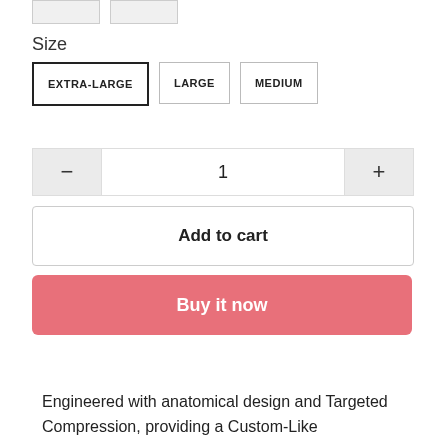[Figure (other): Two product thumbnail images at top of page]
Size
EXTRA-LARGE (selected)
LARGE
MEDIUM
1 (quantity selector with minus and plus buttons)
Add to cart
Buy it now
Engineered with anatomical design and Targeted Compression, providing a Custom-Like